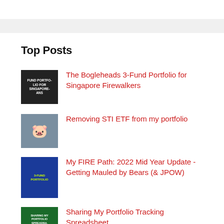Top Posts
[Figure (photo): Thumbnail image with dark background and white text reading 'Fund Portfolio for Singaporeans']
The Bogleheads 3-Fund Portfolio for Singapore Firewalkers
[Figure (photo): Thumbnail image showing cartoon character on blue/grey background]
Removing STI ETF from my portfolio
[Figure (photo): Thumbnail image with blue background and yellow-green text showing fund portfolio info]
My FIRE Path: 2022 Mid Year Update - Getting Mauled by Bears (& JPOW)
[Figure (photo): Thumbnail image with green background showing portfolio tracking spreadsheet text]
Sharing My Portfolio Tracking Spreadsheet